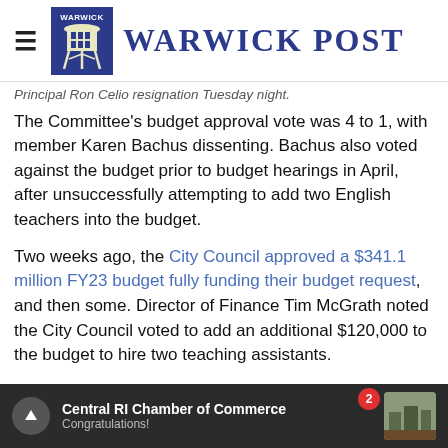Warwick Post
Principal Ron Celio resignation Tuesday night.
The Committee's budget approval vote was 4 to 1, with member Karen Bachus dissenting. Bachus also voted against the budget prior to budget hearings in April, after unsuccessfully attempting to add two English teachers into the budget.
Two weeks ago, the City Council approved a $341.1 million FY23 budget fully funding their budget request, and then some. Director of Finance Tim McGrath noted the City Council voted to add an additional $120,000 to the budget to hire two teaching assistants.
Central RI Chamber of Commerce — Congratulations!